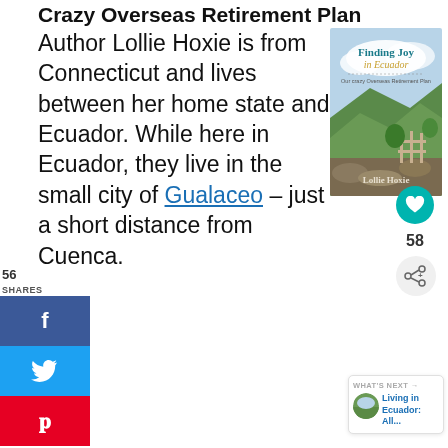Crazy Overseas Retirement Plan
Author Lollie Hoxie is from Connecticut and lives between her home state and Ecuador. While here in Ecuador, they live in the small city of Gualaceo – just a short distance from Cuenca.
[Figure (photo): Book cover of 'Finding Joy in Ecuador: Our Crazy Overseas Retirement Plan' by Lollie Hoxie, showing a mountain village landscape]
56
SHARES
[Figure (infographic): Social sharing sidebar with Facebook (f), Twitter (bird), and Pinterest (p) buttons]
58
[Figure (infographic): Share icon with + symbol and heart icon button in teal]
WHAT'S NEXT → Living in Ecuador: All...
[Figure (photo): Thumbnail image for 'Living in Ecuador: All...' article]